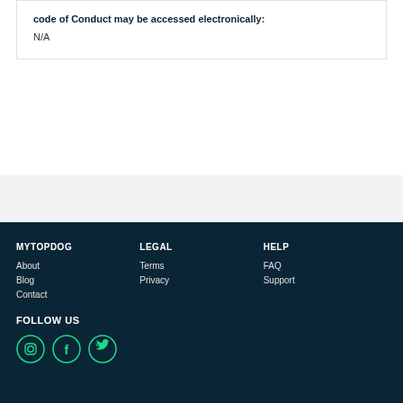code of Conduct may be accessed electronically:
N/A
MYTOPDOG
About
Blog
Contact
LEGAL
Terms
Privacy
HELP
FAQ
Support
FOLLOW US
[Figure (illustration): Social media icons: Instagram, Facebook, Twitter in green circles]